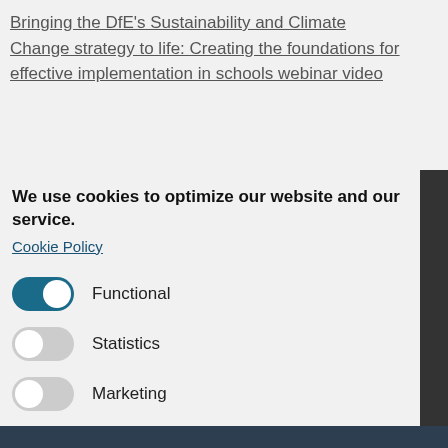Bringing the DfE's Sustainability and Climate Change strategy to life: Creating the foundations for effective implementation in schools webinar video
We use cookies to optimize our website and our service.
Cookie Policy
Functional
Statistics
Marketing
Accept all
Save preferences